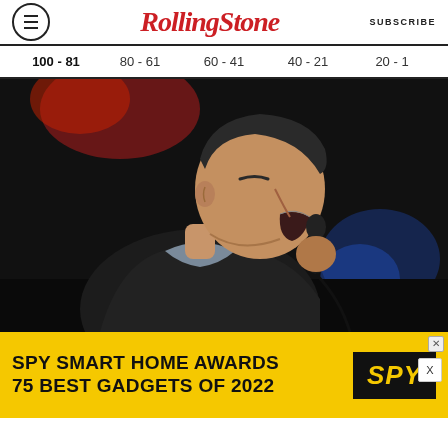Rolling Stone — SUBSCRIBE
100 - 81   80 - 61   60 - 41   40 - 21   20 - 1
[Figure (photo): A male singer performing on stage, holding a microphone, mouth open singing, wearing a black jacket, captured in profile/three-quarter view against a dark background with red and blue stage lights.]
[Figure (infographic): SPY Smart Home Awards advertisement banner. Yellow background with black bold text: 'SPY SMART HOME AWARDS / 75 BEST GADGETS OF 2022' and SPY logo in black box with yellow italic text.]